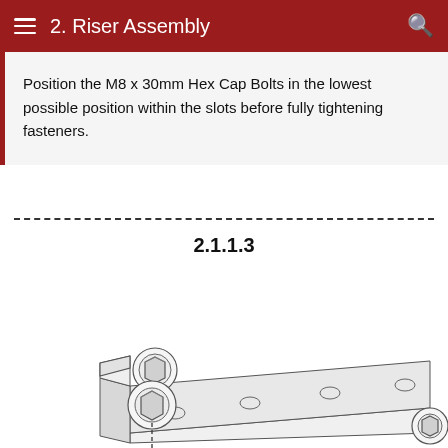2. Riser Assembly
Position the M8 x 30mm Hex Cap Bolts in the lowest possible position within the slots before fully tightening fasteners.
2.1.1.3
[Figure (engineering-diagram): Isometric engineering diagram showing a slotted metal rail/track with two hex cap bolt assemblies (washers and hex nuts) positioned in slots at the left end, and several oval slots along the length of the rail. A dashed vertical line indicates the lowest position for fastener placement.]